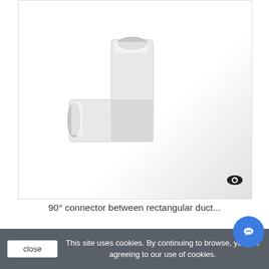[Figure (photo): White 90-degree connector/elbow piece for rectangular duct, shown on white-to-grey gradient background. An eye icon is visible in the lower right corner of the image frame.]
90° connector between rectangular duct...
6,04 €
Add to cart
More
In Stock
This site uses cookies. By continuing to browse, you are agreeing to our use of cookies.